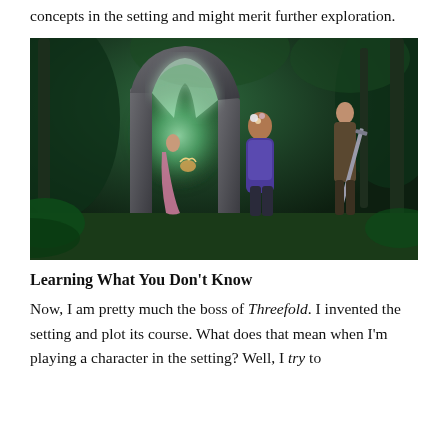concepts in the setting and might merit further exploration.
[Figure (illustration): Fantasy illustration showing three characters in a mystical jungle with a ruined stone gothic arch glowing with green light. A woman in a pink dress stands near the arch, a girl in a purple hoodie with flowers stands in the center foreground, and a warrior with a sword stands to the right.]
Learning What You Don't Know
Now, I am pretty much the boss of Threefold. I invented the setting and plot its course. What does that mean when I'm playing a character in the setting? Well, I try to